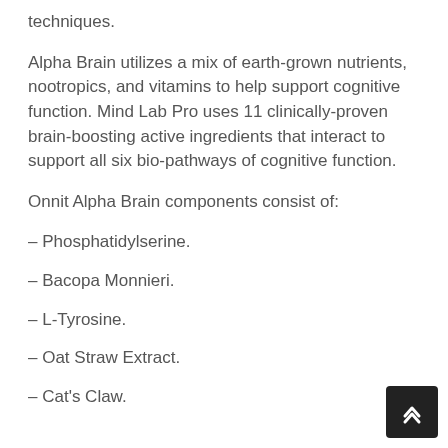techniques.
Alpha Brain utilizes a mix of earth-grown nutrients, nootropics, and vitamins to help support cognitive function. Mind Lab Pro uses 11 clinically-proven brain-boosting active ingredients that interact to support all six bio-pathways of cognitive function.
Onnit Alpha Brain components consist of:
– Phosphatidylserine.
– Bacopa Monnieri.
– L-Tyrosine.
– Oat Straw Extract.
– Cat's Claw.